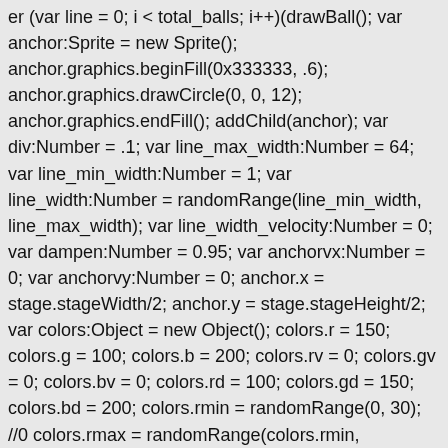er (var line = 0; i < total_balls; i++)(drawBall(); var anchor:Sprite = new Sprite(); anchor.graphics.beginFill(0x333333, .6); anchor.graphics.drawCircle(0, 0, 12); anchor.graphics.endFill(); addChild(anchor); var div:Number = .1; var line_max_width:Number = 64; var line_min_width:Number = 1; var line_width:Number = randomRange(line_min_width, line_max_width); var line_width_velocity:Number = 0; var dampen:Number = 0.95; var anchorvx:Number = 0; var anchorvy:Number = 0; anchor.x = stage.stageWidth/2; anchor.y = stage.stageHeight/2; var colors:Object = new Object(); colors.r = 150; colors.g = 100; colors.b = 200; colors.rv = 0; colors.gv = 0; colors.bv = 0; colors.rd = 100; colors.gd = 150; colors.bd = 200; colors.rmin = randomRange(0, 30); //0 colors.rmax = randomRange(colors.rmin, colors.rmin + colors.rd); //100 colors.gmin = randomRange(0, 60); //100 colors.gmax = randomRange(colors.gmin, colors.gmin + colors.gd); //200 colors.bmin = randomRange(0, 50); //150